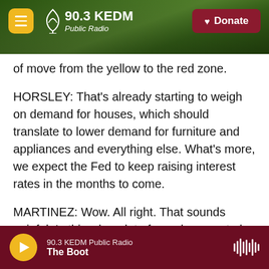90.3 KEDM Public Radio — Donate
of move from the yellow to the red zone.
HORSLEY: That's already starting to weigh on demand for houses, which should translate to lower demand for furniture and appliances and everything else. What's more, we expect the Fed to keep raising interest rates in the months to come.
MARTINEZ: Wow. All right. That sounds painful. Is this why a lot of people seem to be worried about a recession?
HORSLEY: Yeah, it's no fun. Businesses are going to
90.3 KEDM Public Radio — The Boot